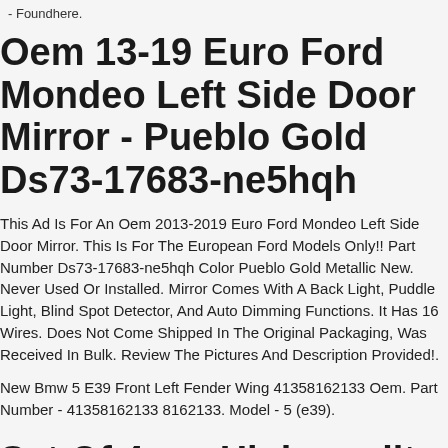- Foundhere.
Oem 13-19 Euro Ford Mondeo Left Side Door Mirror - Pueblo Gold Ds73-17683-ne5hqh
This Ad Is For An Oem 2013-2019 Euro Ford Mondeo Left Side Door Mirror. This Is For The European Ford Models Only!! Part Number Ds73-17683-ne5hqh Color Pueblo Gold Metallic New. Never Used Or Installed. Mirror Comes With A Back Light, Puddle Light, Blind Spot Detector, And Auto Dimming Functions. It Has 16 Wires. Does Not Come Shipped In The Original Packaging, Was Received In Bulk. Review The Pictures And Description Provided!.
New Bmw 5 E39 Front Left Fender Wing 41358162133 Oem. Part Number - 41358162133 8162133. Model - 5 (e39).
Set Of 4pcs High quality Abs Plastic